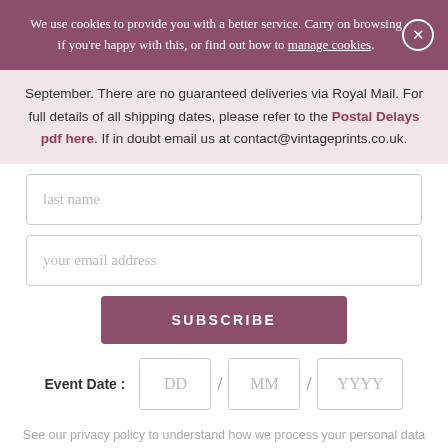We use cookies to provide you with a better service. Carry on browsing if you're happy with this, or find out how to manage cookies.
September. There are no guaranteed deliveries via Royal Mail. For full details of all shipping dates, please refer to the Postal Delays pdf here. If in doubt email us at contact@vintageprints.co.uk.
last name
your email address
SUBSCRIBE
Event Date : DD / MM / YYYY
See our privacy policy to understand how we process your personal data